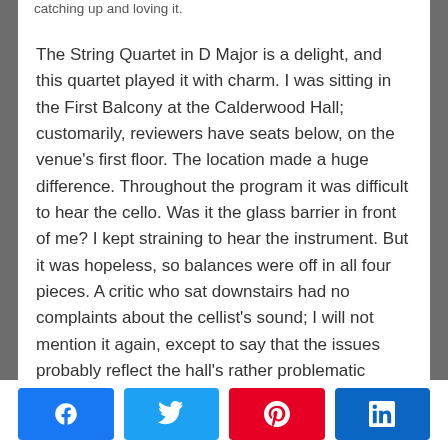catching up and loving it.
The String Quartet in D Major is a delight, and this quartet played it with charm. I was sitting in the First Balcony at the Calderwood Hall; customarily, reviewers have seats below, on the venue's first floor. The location made a huge difference. Throughout the program it was difficult to hear the cello. Was it the glass barrier in front of me? I kept straining to hear the instrument. But it was hopeless, so balances were off in all four pieces. A critic who sat downstairs had no complaints about the cellist's sound; I will not mention it again, except to say that the issues probably reflect the hall's rather problematic acoustics.
[Figure (infographic): Social share buttons: Facebook (blue), Twitter (light blue), Pinterest (red), LinkedIn (dark blue)]